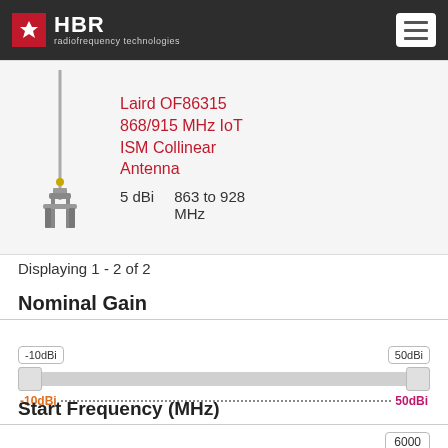HBR radiofrequency technologies
[Figure (photo): Laird OF86315 868/915 MHz IoT ISM Collinear Antenna product image showing a tall slim antenna with a mounting bracket]
Laird OF86315 868/915 MHz IoT ISM Collinear Antenna   5 dBi   863 to 928 MHz
Displaying 1 - 2 of 2
Nominal Gain
[Figure (other): Range slider control with labels -10dBi on left and 50dBi on right, with dotted line scale below showing -10dBi in orange and 50dBi in pink]
Start Frequency (MHz)
[Figure (other): Range slider control for Start Frequency with 6000 label visible on right side]